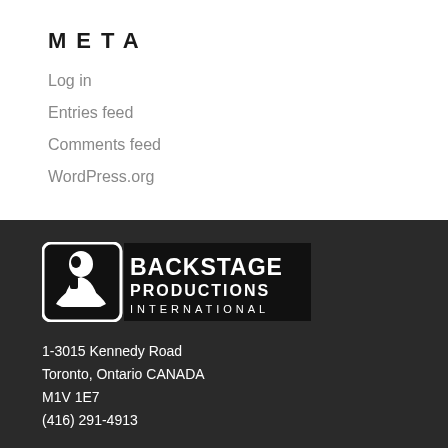META
Log in
Entries feed
Comments feed
WordPress.org
[Figure (logo): Backstage Productions International logo — black rectangle with white silhouette of performer on left, bold white text BACKSTAGE PRODUCTIONS INTERNATIONAL on right]
1-3015 Kennedy Road
Toronto, Ontario CANADA
M1V 1E7
(416) 291-4913